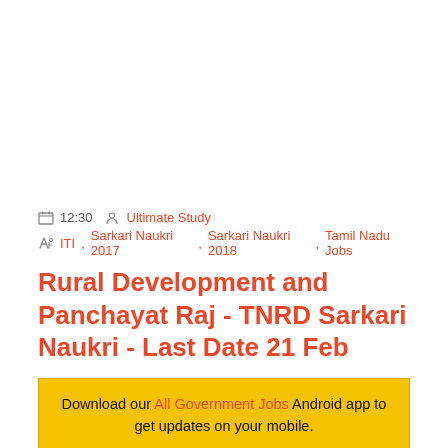12:30  Ultimate Study
ITI, Sarkari Naukri 2017, Sarkari Naukri 2018, Tamil Nadu Jobs
Rural Development and Panchayat Raj - TNRD Sarkari Naukri - Last Date 21 Feb
Download our All Government Jobs Android app to get updates on your mobile.